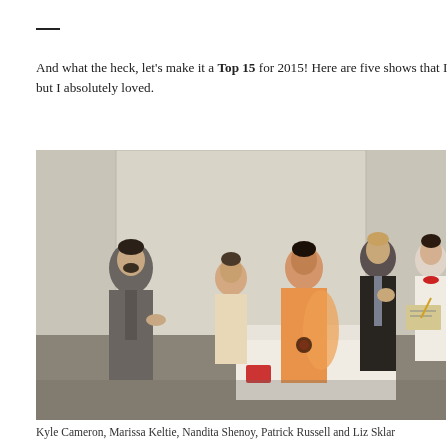And what the heck, let's make it a Top 15 for 2015! Here are five shows that I but I absolutely loved.
[Figure (photo): Theatre production photo showing five actors on stage: a man in grey suit on the left gesturing with his hands, a woman in beige in the background, a woman in an orange sari at center, a young man in dark suit with hand near face, and a woman in white top with red necklace holding a clipboard on the right.]
Kyle Cameron, Marissa Keltie, Nandita Shenoy, Patrick Russell and Liz Sklar